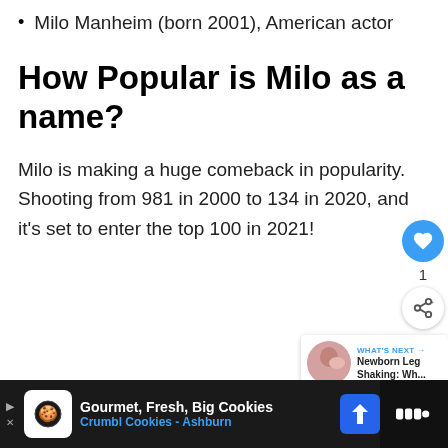Milo Manheim (born 2001), American actor
How Popular is Milo as a name?
Milo is making a huge comeback in popularity. Shooting from 981 in 2000 to 134 in 2020, and it's set to enter the top 100 in 2021!
[Figure (other): Heart/like button (blue circle with white heart icon), count label '1', and share button below]
[Figure (other): What's Next panel with thumbnail image and text 'Newborn Leg Shaking: Wh...']
[Figure (other): Advertisement bar: Gourmet, Fresh, Big Cookies - Crumbl Cookies - Ashburn, with cookie icon, navigation arrow, and right-side logo]